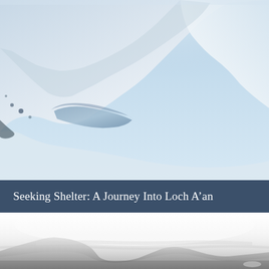[Figure (photo): A winter landscape photograph showing snow-covered mountain slopes with dramatic curved snow formations and a glimpse of frozen or partially frozen water/ice below, set against a pale blue-grey sky. The scene is predominantly white and light blue tones with soft shadows.]
Seeking Shelter: A Journey Into Loch A’an
[Figure (photo): A misty, bleak black-and-white or desaturated landscape photograph showing rolling moorland or highland hills partially obscured by low cloud, mist, or blowing snow. The foreground is dark grey ground, the middle ground shows undulating hills, and the background fades into bright white mist/fog.]